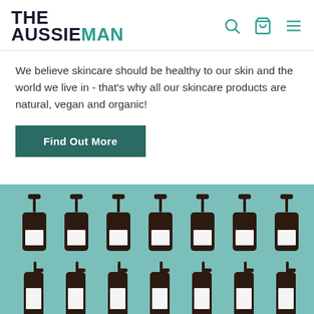THE AUSSIEMAN
We believe skincare should be healthy to our skin and the world we live in - that's why all our skincare products are natural, vegan and organic!
Find Out More
[Figure (photo): Multiple rows of dark amber pump bottles and spray bottles of The Aussieman skincare products arranged against a teal/mint background.]